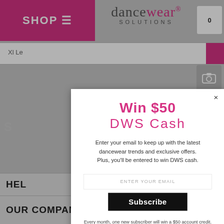[Figure (screenshot): Dancewear Solutions website header with pink SHOP menu bar, logo, search bar, and background page content]
Win $50
DWS Cash
Enter your email to keep up with the latest dancewear trends and exclusive offers. Plus, you'll be entered to win DWS cash.
ENTER YOUR EMAIL
Subscribe
Every month, one new subscriber will win a $50 account credit. You may unsubscribe at any time.
Privacy Policy